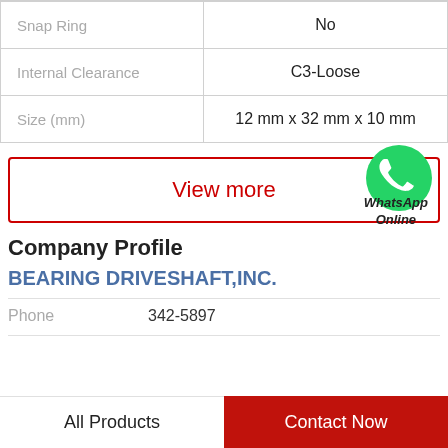| Property | Value |
| --- | --- |
| Snap Ring | No |
| Internal Clearance | C3-Loose |
| Size (mm) | 12 mm x 32 mm x 10 mm |
View more
[Figure (logo): WhatsApp green phone icon with label 'WhatsApp Online']
Company Profile
BEARING DRIVESHAFT,INC.
Phone  342-5897
All Products
Contact Now